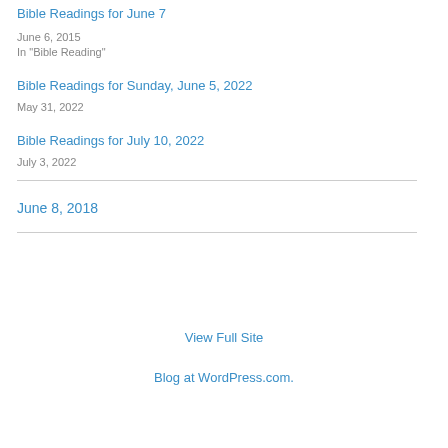Bible Readings for June 7
June 6, 2015
In "Bible Reading"
Bible Readings for Sunday, June 5, 2022
May 31, 2022
Bible Readings for July 10, 2022
July 3, 2022
June 8, 2018
View Full Site
Blog at WordPress.com.